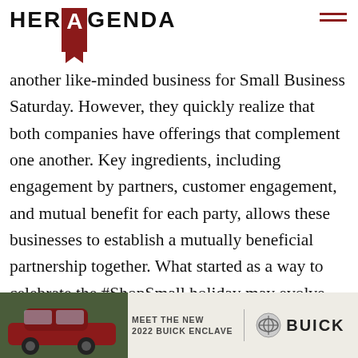HER AGENDA
another like-minded business for Small Business Saturday. However, they quickly realize that both companies have offerings that complement one another. Key ingredients, including engagement by partners, customer engagement, and mutual benefit for each party, allows these businesses to establish a mutually beneficial partnership together. What started as a way to celebrate the #ShopSmall holiday may evolve into a strategic partnership that allows both businesses to bett
[Figure (photo): Advertisement banner for the 2022 Buick Enclave showing a red SUV on the left and text 'MEET THE NEW 2022 BUICK ENCLAVE' with Buick logo on the right]